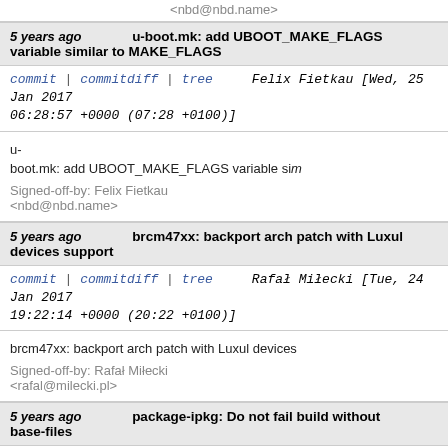<nbd@nbd.name>
5 years ago   u-boot.mk: add UBOOT_MAKE_FLAGS variable similar to MAKE_FLAGS
commit | commitdiff | tree   Felix Fietkau [Wed, 25 Jan 2017 06:28:57 +0000 (07:28 +0100)]
u-boot.mk: add UBOOT_MAKE_FLAGS variable si

Signed-off-by: Felix Fietkau <nbd@nbd.name>
5 years ago   brcm47xx: backport arch patch with Luxul devices support
commit | commitdiff | tree   Rafał Miłecki [Tue, 24 Jan 2017 19:22:14 +0000 (20:22 +0100)]
brcm47xx: backport arch patch with Luxul devices

Signed-off-by: Rafał Miłecki <rafal@milecki.pl>
5 years ago   package-ipkg: Do not fail build without base-files
commit | commitdiff | tree   Florian Fainelli [Sat, 10 Dec 2016 00:04:49 +0000 (16:04 -0800)]